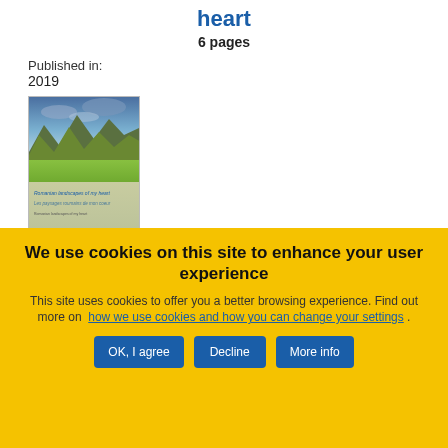heart
6 pages
Published in:
2019
[Figure (photo): Book cover showing mountain landscape with green fields under cloudy sky, with text 'Romanian landscapes of my heart / Les paysages roumains de mon cœur']
We use cookies on this site to enhance your user experience
This site uses cookies to offer you a better browsing experience. Find out more on how we use cookies and how you can change your settings .
OK, I agree
Decline
More info